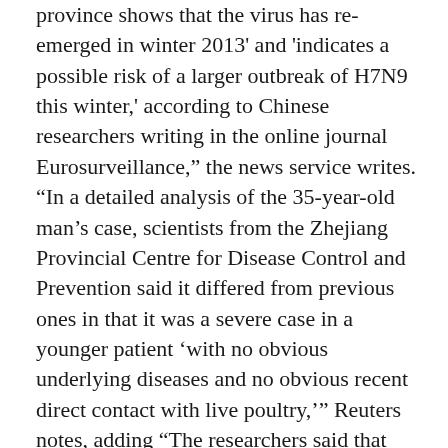province shows that the virus has re-emerged in winter 2013' and 'indicates a possible risk of a larger outbreak of H7N9 this winter,' according to Chinese researchers writing in the online journal Eurosurveillance," the news service writes. "In a detailed analysis of the 35-year-old man's case, scientists from the Zhejiang Provincial Centre for Disease Control and Prevention said it differed from previous ones in that it was a severe case in a younger patient 'with no obvious underlying diseases and no obvious recent direct contact with live poultry,'" Reuters notes, adding "The researchers said that based on China's experience in the spring, when there were 30 cases in March and 88 in April, the best approach now would be to maintain enhanced and expanded surveillance in human and animal populations to make sure